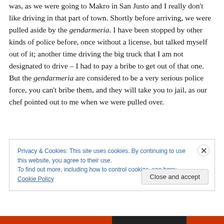was, as we were going to Makro in San Justo and I really don't like driving in that part of town. Shortly before arriving, we were pulled aside by the gendarmeria. I have been stopped by other kinds of police before, once without a license, but talked myself out of it; another time driving the big truck that I am not designated to drive – I had to pay a bribe to get out of that one. But the gendarmeria are considered to be a very serious police force, you can't bribe them, and they will take you to jail, as our chef pointed out to me when we were pulled over.
[Figure (screenshot): Cookie consent banner with close button (X) and 'Close and accept' button. Text: 'Privacy & Cookies: This site uses cookies. By continuing to use this website, you agree to their use. To find out more, including how to control cookies, see here: Cookie Policy']